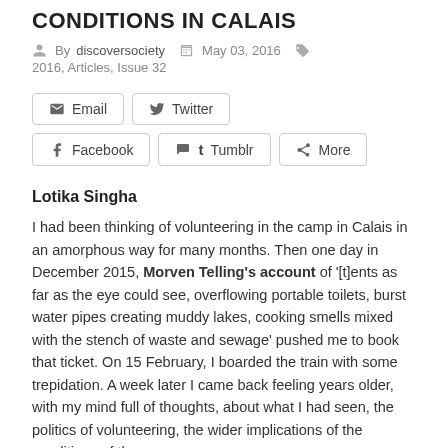CONDITIONS IN CALAIS
By discoversociety   May 03, 2016   2016, Articles, Issue 32
[Figure (screenshot): Social share buttons: Email, Twitter, Facebook, Tumblr, More]
Lotika Singha
I had been thinking of volunteering in the camp in Calais in an amorphous way for many months. Then one day in December 2015, Morven Telling's account of '[t]ents as far as the eye could see, overflowing portable toilets, burst water pipes creating muddy lakes, cooking smells mixed with the stench of waste and sewage' pushed me to book that ticket. On 15 February, I boarded the train with some trepidation. A week later I came back feeling years older, with my mind full of thoughts, about what I had seen, the politics of volunteering, the wider implications of the conditions of the camp